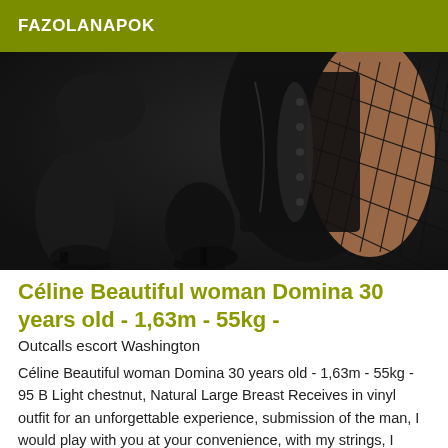FAZOLANAPOK
[Figure (photo): A woman in a black outfit and fishnet stockings wearing high heels, posing in a dominatrix style.]
Céline Beautiful woman Domina 30 years old - 1,63m - 55kg -
Outcalls escort Washington
Céline Beautiful woman Domina 30 years old - 1,63m - 55kg - 95 B Light chestnut, Natural Large Breast Receives in vinyl outfit for an unforgettable experience, submission of the man, I would play with you at your convenience, with my strings, I would tie you up and